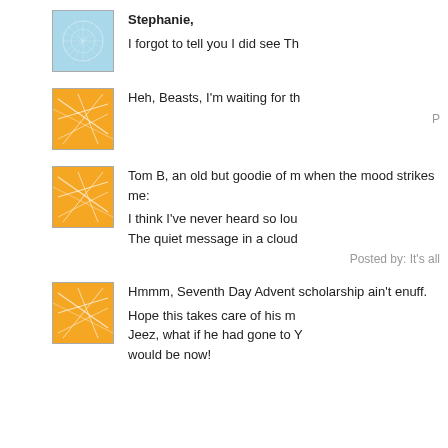[Figure (illustration): Blue avatar with abstract white network/web pattern]
Stephanie,

I forgot to tell you I did see Th
[Figure (illustration): Orange avatar with abstract white network/line pattern]
Heh, Beasts, I'm waiting for th
Posted by: R
[Figure (illustration): Orange avatar with abstract white network/line pattern]
Tom B, an old but goodie of m when the mood strikes me:

I think I've never heard so lou The quiet message in a cloud
Posted by: It's all
[Figure (illustration): Orange avatar with abstract white network/line pattern]
Hmmm, Seventh Day Advent scholarship ain't enuff.

Hope this takes care of his m Jeez, what if he had gone to Y would be now!